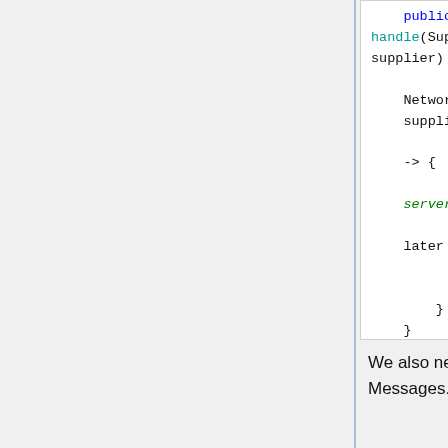[Figure (screenshot): Code block showing a Java method with boolean return type, NetworkEvent.Context, supplier.get(), ctx.enqueueWork lambda with TODO comment, and return true statement]
We also need to register our Messages class. Do that by calling Messages.register() from ModSetup (ModSetup on Github):